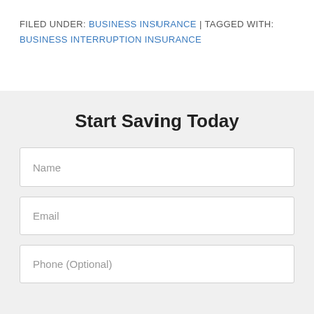FILED UNDER: BUSINESS INSURANCE | TAGGED WITH: BUSINESS INTERRUPTION INSURANCE
Start Saving Today
Name
Email
Phone (Optional)